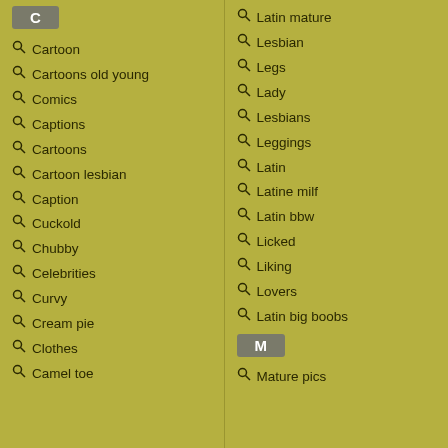C
Cartoon
Cartoons old young
Comics
Captions
Cartoons
Cartoon lesbian
Caption
Cuckold
Chubby
Celebrities
Curvy
Cream pie
Clothes
Camel toe
Latin mature
Lesbian
Legs
Lady
Lesbians
Leggings
Latin
Latine milf
Latin bbw
Licked
Liking
Lovers
Latin big boobs
M
Mature pics